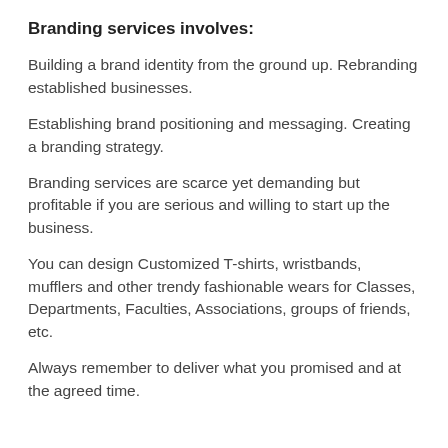Branding services involves:
Building a brand identity from the ground up. Rebranding established businesses.
Establishing brand positioning and messaging. Creating a branding strategy.
Branding services are scarce yet demanding but profitable if you are serious and willing to start up the business.
You can design Customized T-shirts, wristbands, mufflers and other trendy fashionable wears for Classes, Departments, Faculties, Associations, groups of friends, etc.
Always remember to deliver what you promised and at the agreed time.